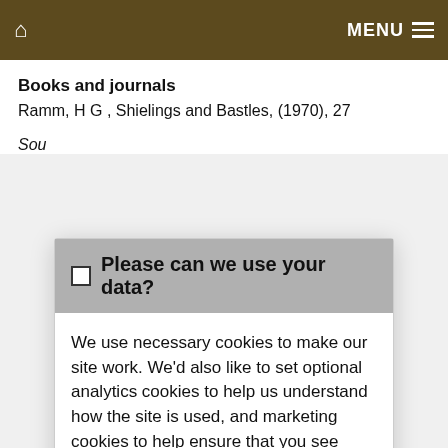MENU
Books and journals
Ramm, H G , Shielings and Bastles, (1970), 27
Sou
☐ Please can we use your data?
We use necessary cookies to make our site work. We'd also like to set optional analytics cookies to help us understand how the site is used, and marketing cookies to help ensure that you see relevant advertising. You can allow all cookies or manage them individually. More information
Accept Cookies
Customise Cookies